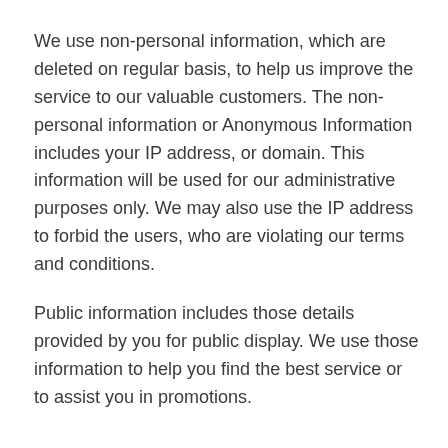We use non-personal information, which are deleted on regular basis, to help us improve the service to our valuable customers. The non-personal information or Anonymous Information includes your IP address, or domain. This information will be used for our administrative purposes only. We may also use the IP address to forbid the users, who are violating our terms and conditions.
Public information includes those details provided by you for public display. We use those information to help you find the best service or to assist you in promotions.